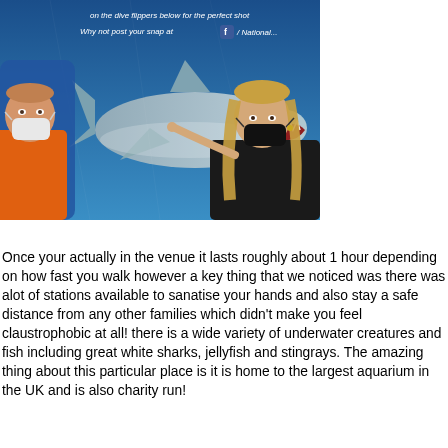[Figure (photo): Two people wearing face masks standing in front of a large blue display board featuring a great white shark. The person on the left wears an orange top and a white mask; the person on the right has blonde hair and wears a black top with a black mask and is pointing at the shark image. The background board has text reading 'on the dive flippers below for the perfect shot' and 'Why not post your snap at [Facebook icon] / National...']
Once your actually in the venue it lasts roughly about 1 hour depending on how fast you walk however a key thing that we noticed was there was alot of stations available to sanatise your hands and also stay a safe distance from any other families which didn't make you feel claustrophobic at all! there is a wide variety of underwater creatures and fish including great white sharks, jellyfish and stingrays. The amazing thing about this particular place is it is home to the largest aquarium in the UK and is also charity run!